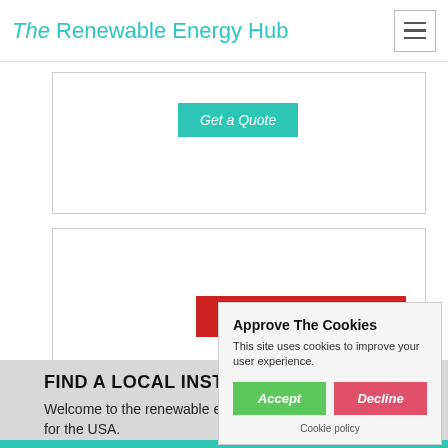The Renewable Energy Hub
[Figure (screenshot): Get a Quote button (teal) inside a bordered white box]
[Figure (screenshot): Compare Quotations button (red) inside a bordered white box]
FIND A LOCAL INSTALLER
Welcome to the renewable energy company directory for the USA.
[Figure (screenshot): Cookie consent popup with Accept and Decline buttons]